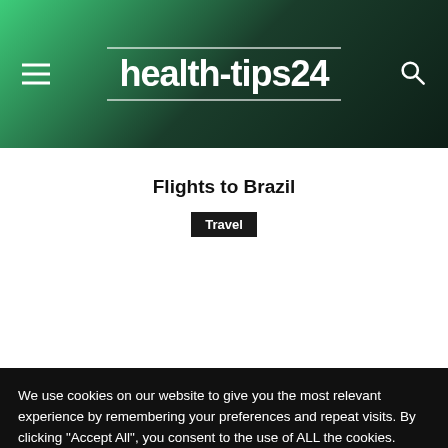health-tips24
Flights to Brazil
Travel
We use cookies on our website to give you the most relevant experience by remembering your preferences and repeat visits. By clicking "Accept All", you consent to the use of ALL the cookies. However, you may visit "Cookie Settings" to provide a controlled consent.